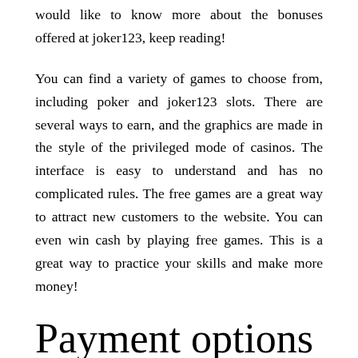would like to know more about the bonuses offered at joker123, keep reading!
You can find a variety of games to choose from, including poker and joker123 slots. There are several ways to earn, and the graphics are made in the style of the privileged mode of casinos. The interface is easy to understand and has no complicated rules. The free games are a great way to attract new customers to the website. You can even win cash by playing free games. This is a great way to practice your skills and make more money!
Payment options
Payment options for Joker123 are numerous and convenient. The website accepts most major credit cards, PayPal, and bank transfers. There are also a variety of